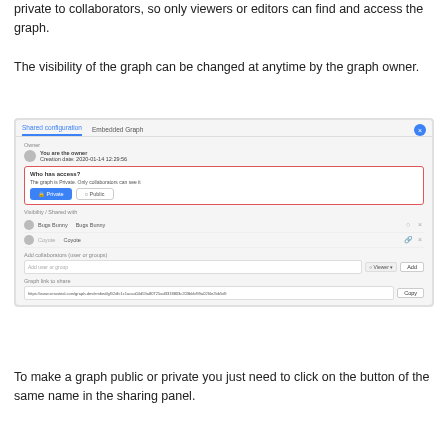private to collaborators, so only viewers or editors can find and access the graph.
The visibility of the graph can be changed at anytime by the graph owner.
[Figure (screenshot): Screenshot of a 'Shared configuration' dialog with tabs 'Shared configuration' and 'Embedded Graph'. Shows owner info (You are the owner, Creation date: 2020-01-14 12:29:56), a 'Who has access?' section with a red border showing 'The graph is Private. Only collaborators can see it' and Private/Public toggle buttons with Private selected in blue. Below is a Visibility/Shared with section listing Bugs Bunny and Coyote users. An 'Add collaborators (user or groups)' input with Viewer and Add button. A 'Graph link to share' field with a URL and Copy button.]
To make a graph public or private you just need to click on the button of the same name in the sharing panel.